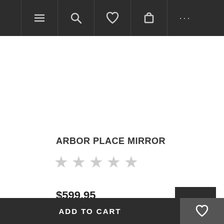Navigation bar with menu, search, wishlist, cart, and more icons
ARBOR PLACE MIRROR
★★★★★ (star rating, 5 empty stars)
$599.95
ADD TO CART